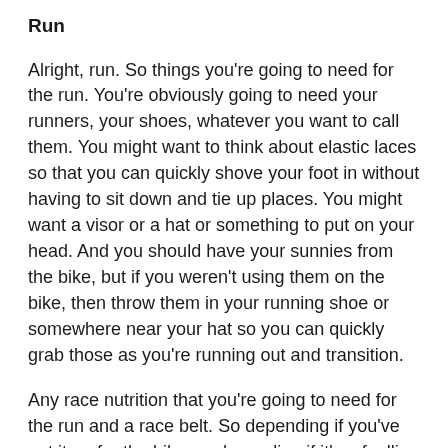Run
Alright, run. So things you're going to need for the run. You're obviously going to need your runners, your shoes, whatever you want to call them. You might want to think about elastic laces so that you can quickly shove your foot in without having to sit down and tie up places. You might want a visor or a hat or something to put on your head. And you should have your sunnies from the bike, but if you weren't using them on the bike, then throw them in your running shoe or somewhere near your hat so you can quickly grab those as you're running out and transition.
Any race nutrition that you're going to need for the run and a race belt. So depending if you've put it on for the bike, or depending if it's a fuelling type belt, but it's either the one where you toggle your race number onto it or it